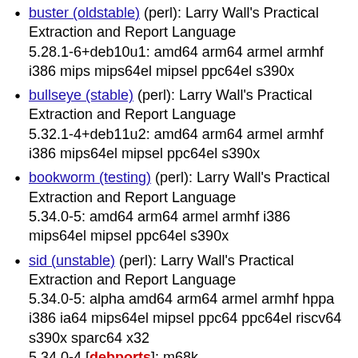buster (oldstable) (perl): Larry Wall's Practical Extraction and Report Language
5.28.1-6+deb10u1: amd64 arm64 armel armhf i386 mips mips64el mipsel ppc64el s390x
bullseye (stable) (perl): Larry Wall's Practical Extraction and Report Language
5.32.1-4+deb11u2: amd64 arm64 armel armhf i386 mips64el mipsel ppc64el s390x
bookworm (testing) (perl): Larry Wall's Practical Extraction and Report Language
5.34.0-5: amd64 arm64 armel armhf i386 mips64el mipsel ppc64el s390x
sid (unstable) (perl): Larry Wall's Practical Extraction and Report Language
5.34.0-5: alpha amd64 arm64 armel armhf hppa i386 ia64 mips64el mipsel ppc64 ppc64el riscv64 s390x sparc64 x32
5.34.0-4 [debports]: m68k
5.34.0-3 [debports]: sh4